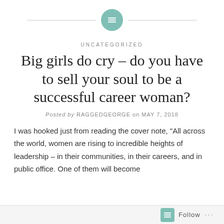[Figure (logo): Teal circular icon with a lines/text symbol, flanked by horizontal lines on each side, serving as a blog header decoration]
UNCATEGORIZED
Big girls do cry – do you have to sell your soul to be a successful career woman?
Posted by RAGGEDGEORGE on MAY 7, 2018
I was hooked just from reading the cover note, “All across the world, women are rising to incredible heights of leadership – in their communities, in their careers, and in public office. One of them will become
Follow